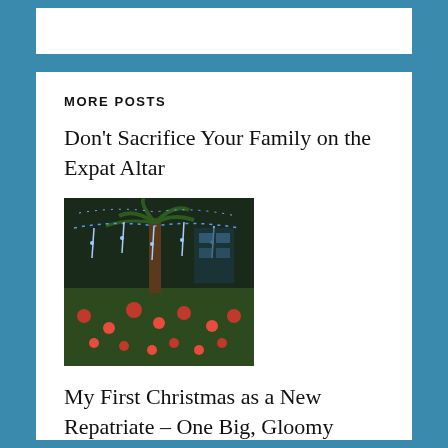MORE POSTS
Don't Sacrifice Your Family on the Expat Altar
[Figure (photo): Night scene with trees decorated with blue and white fairy lights, surrounded by a garden with red and green tropical plants and flowers.]
My First Christmas as a New Repatriate – One Big, Gloomy Mess